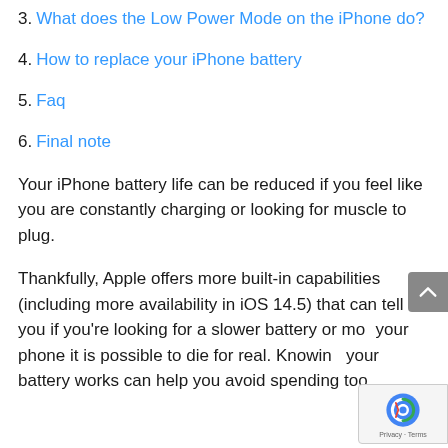3. What does the Low Power Mode on the iPhone do?
4. How to replace your iPhone battery
5. Faq
6. Final note
Your iPhone battery life can be reduced if you feel like you are constantly charging or looking for muscle to plug.
Thankfully, Apple offers more built-in capabilities (including more availability in iOS 14.5) that can tell you if you're looking for a slower battery or more your phone it is possible to die for real. Knowing your battery works can help you avoid spending too